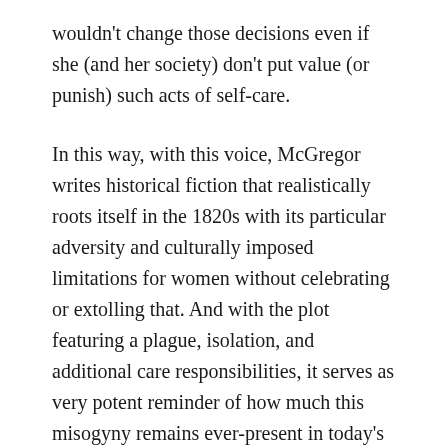wouldn't change those decisions even if she (and her society) don't put value (or punish) such acts of self-care.
In this way, with this voice, McGregor writes historical fiction that realistically roots itself in the 1820s with its particular adversity and culturally imposed limitations for women without celebrating or extolling that. And with the plot featuring a plague, isolation, and additional care responsibilities, it serves as very potent reminder of how much this misogyny remains ever-present in today's society as amid the SARS-CoV-2 pandemic women have been expected to make the greater professional sacrifices in child care and domestic maintenance. How many right now are doing what they'd otherwise find inconceivable or impossible, simply because there is no other option. Hard tasks